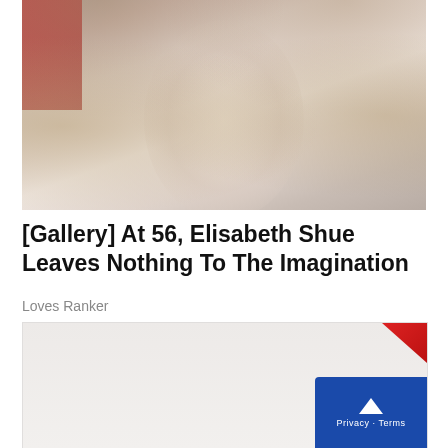[Figure (photo): Portrait photo of a blonde woman (Elisabeth Shue) smiling, with a muted/faded color treatment. Red element visible in top-left corner of the photo.]
[Gallery] At 56, Elisabeth Shue Leaves Nothing To The Imagination
Loves Ranker
[Figure (photo): Partially visible second image, content unclear, light background.]